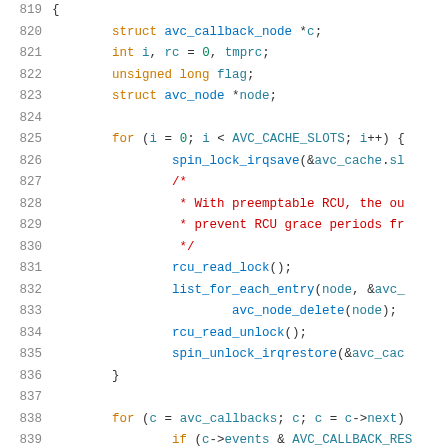[Figure (screenshot): Source code listing showing C code lines 819-839, syntax highlighted. Lines include struct declarations, a for loop over AVC_CACHE_SLOTS with spin_lock, rcu_read_lock, list_for_each_entry, avc_node_delete, rcu_read_unlock, spin_unlock_irqrestore, a second for loop over avc_callbacks, and an if statement checking c->events & AVC_CALLBACK_RES.]